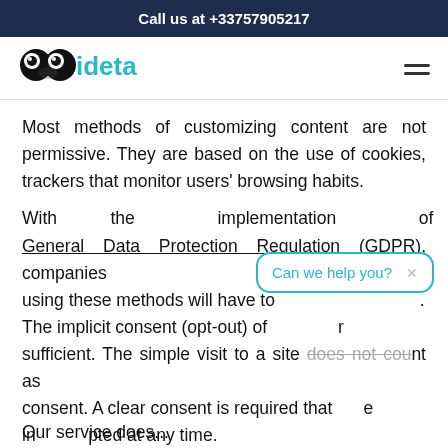Call us at +33757905217
[Figure (logo): Ideta logo with panda eyes icon and 'ideta' text in teal]
Most methods of customizing content are not permissive. They are based on the use of cookies, trackers that monitor users' browsing habits.
With the implementation of the General Data Protection Regulation (GDPR), companies using these methods will have to comply with the law. The implicit consent (opt-out) of cookies is no longer sufficient. The simple visit to a site does not count as consent. A clear consent is required that can be interrupted at any time.
Our service does...